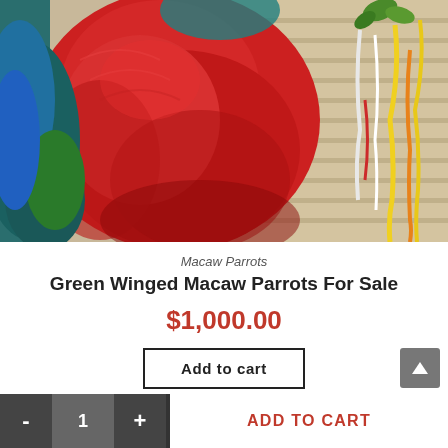[Figure (photo): Close-up photo of a Green Winged Macaw parrot with vivid red plumage, blue/green wing feathers, perched in a cage with colorful toys visible in the background.]
Macaw Parrots
Green Winged Macaw Parrots For Sale
$1,000.00
Add to cart
- 1 + ADD TO CART